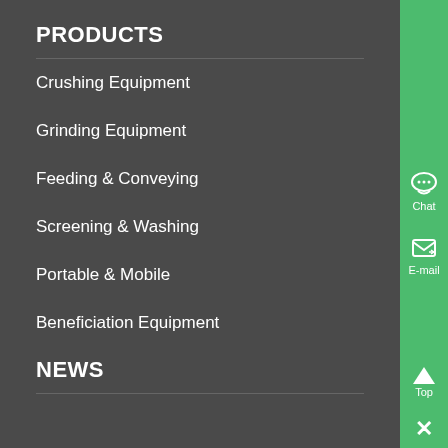PRODUCTS
Crushing Equipment
Grinding Equipment
Feeding & Conveying
Screening & Washing
Portable & Mobile
Beneficiation Equipment
NEWS